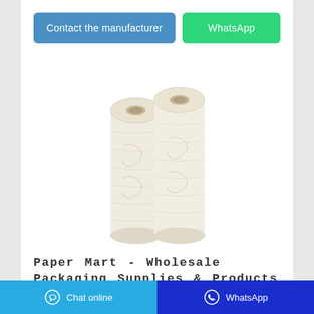[Figure (other): Two buttons: 'Contact the manufacturer' (blue) and 'WhatsApp' (green)]
[Figure (photo): Two white paper towel rolls standing upright side by side on a white background]
Paper Mart - Wholesale Packaging Supplies & Products
The Complete Packaging Supplies Store Paper Mart
[Figure (other): Footer bar with 'Chat online' button (light blue) and 'WhatsApp' button (dark blue), each with icons]